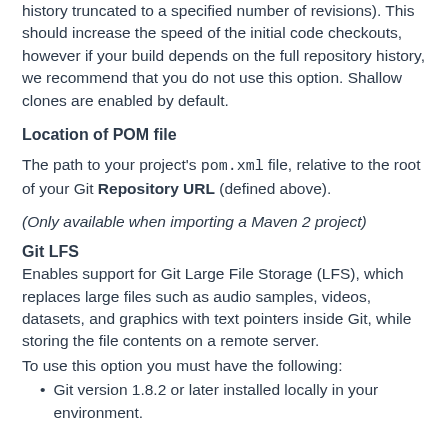history truncated to a specified number of revisions). This should increase the speed of the initial code checkouts, however if your build depends on the full repository history, we recommend that you do not use this option. Shallow clones are enabled by default.
Location of POM file
The path to your project's pom.xml file, relative to the root of your Git Repository URL (defined above).
(Only available when importing a Maven 2 project)
Git LFS
Enables support for Git Large File Storage (LFS), which replaces large files such as audio samples, videos, datasets, and graphics with text pointers inside Git, while storing the file contents on a remote server.
To use this option you must have the following:
Git version 1.8.2 or later installed locally in your environment.